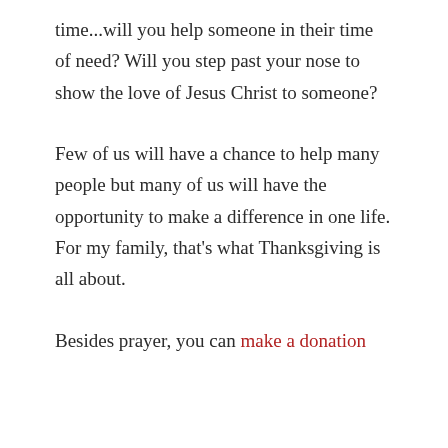time...will you help someone in their time of need? Will you step past your nose to show the love of Jesus Christ to someone?
Few of us will have a chance to help many people but many of us will have the opportunity to make a difference in one life. For my family, that's what Thanksgiving is all about.
Besides prayer, you can make a donation